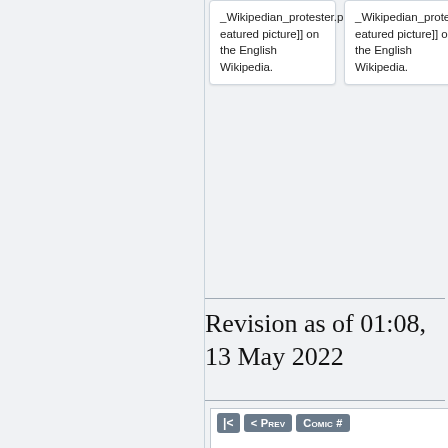_Wikipedian_protester.png|featured picture]] on the English Wikipedia.
_Wikipedian_protester.png|featured picture]] on the English Wikipedia.
Revision as of 01:08, 13 May 2022
[Figure (screenshot): Navigation bar with |< , < Prev, and Comic # buttons, followed by bold 'Wikipe' heading, then a stick figure at a podium with US flag badge in a comic panel.]